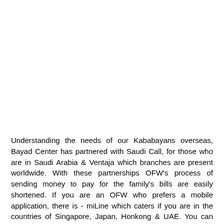Understanding the needs of our Kababayans overseas, Bayad Center has partnered with Saudi Call, for those who are in Saudi Arabia & Ventaja which branches are present worldwide. With these partnerships OFW's process of sending money to pay for the family's bills are easily shortened. If you are an OFW who prefers a mobile application, there is - miLine which caters if you are in the countries of Singapore, Japan, Honkong & UAE. You can simply download the app for an easy way of paying bills back home. miLine's bills payment system is powered by Bayad